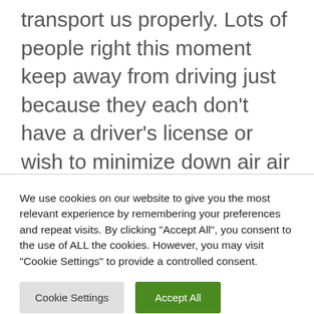transport us properly. Lots of people right this moment keep away from driving just because they each don't have a driver's license or wish to minimize down air air pollution. City transportation can be considerably a lot simpler if there was an software program that might show us in serious-time the positioning of buses, trains, or trams and we might understand how prolonged it could simply take for the transport to reach on the station we're ready round on.
We use cookies on our website to give you the most relevant experience by remembering your preferences and repeat visits. By clicking "Accept All", you consent to the use of ALL the cookies. However, you may visit "Cookie Settings" to provide a controlled consent.